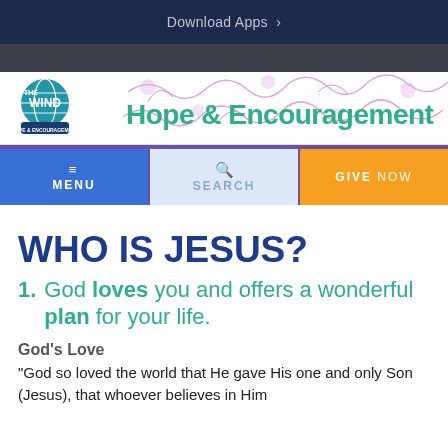Download Apps >
[Figure (logo): The Wind Hope & Encouragement logo with globe icon and decorative floral banner]
MENU | SEARCH | GIVE NOW
WHO IS JESUS?
1. God loves you and offers a wonderful plan for your life.
God's Love
"God so loved the world that He gave His one and only Son (Jesus), that whoever believes in Him